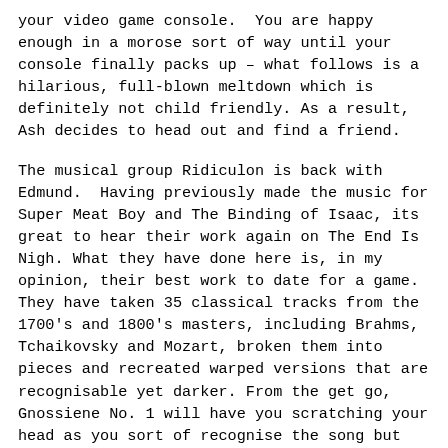your video game console.  You are happy enough in a morose sort of way until your console finally packs up – what follows is a hilarious, full-blown meltdown which is definitely not child friendly. As a result, Ash decides to head out and find a friend.
The musical group Ridiculon is back with Edmund.  Having previously made the music for Super Meat Boy and The Binding of Isaac, its great to hear their work again on The End Is Nigh. What they have done here is, in my opinion, their best work to date for a game.  They have taken 35 classical tracks from the 1700's and 1800's masters, including Brahms, Tchaikovsky and Mozart, broken them into pieces and recreated warped versions that are recognisable yet darker. From the get go, Gnossiene No. 1 will have you scratching your head as you sort of recognise the song but can't quite figure out where it came from. When the first stage comes around and